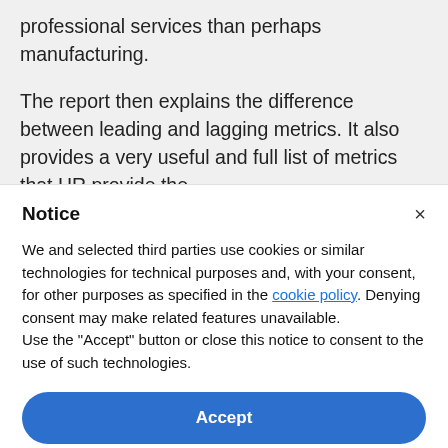professional services than perhaps manufacturing.
The report then explains the difference between leading and lagging metrics. It also provides a very useful and full list of metrics that HR provide the
Notice
We and selected third parties use cookies or similar technologies for technical purposes and, with your consent, for other purposes as specified in the cookie policy. Denying consent may make related features unavailable.
Use the "Accept" button or close this notice to consent to the use of such technologies.
Accept
Learn more and customise